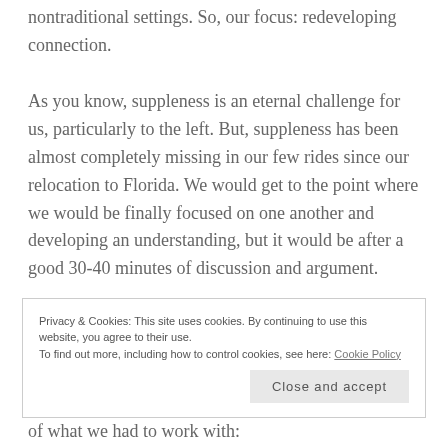nontraditional settings. So, our focus: redeveloping connection.
As you know, suppleness is an eternal challenge for us, particularly to the left. But, suppleness has been almost completely missing in our few rides since our relocation to Florida. We would get to the point where we would be finally focused on one another and developing an understanding, but it would be after a good 30-40 minutes of discussion and argument.
This past Saturday morning, I arrived at the boarding
Privacy & Cookies: This site uses cookies. By continuing to use this website, you agree to their use.
To find out more, including how to control cookies, see here: Cookie Policy
Close and accept
of what we had to work with: